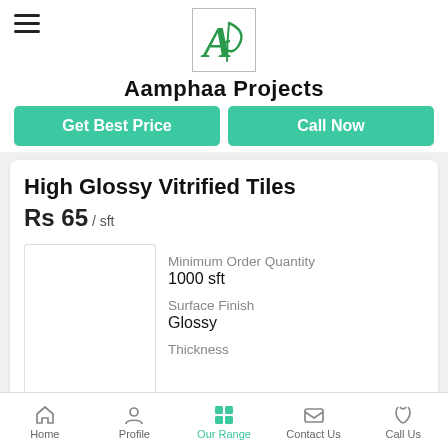[Figure (logo): Aamphaa Projects logo — stylized 'A' with leaf/feather in green, inside a square border]
Aamphaa Projects
Get Best Price | Call Now
High Glossy Vitrified Tiles
Rs 65 / sft
Minimum Order Quantity
1000 sft
Surface Finish
Glossy
Thickness
Home  Profile  Our Range  Contact Us  Call Us